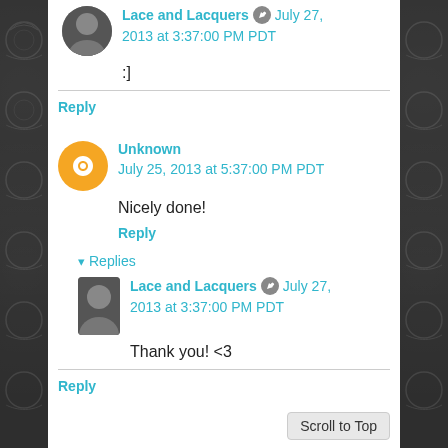Lace and Lacquers [edit icon] July 27, 2013 at 3:37:00 PM PDT
:]
Reply
Unknown July 25, 2013 at 5:37:00 PM PDT
Nicely done!
Reply
Replies
Lace and Lacquers [edit icon] July 27, 2013 at 3:37:00 PM PDT
Thank you! <3
Reply
Scroll to Top